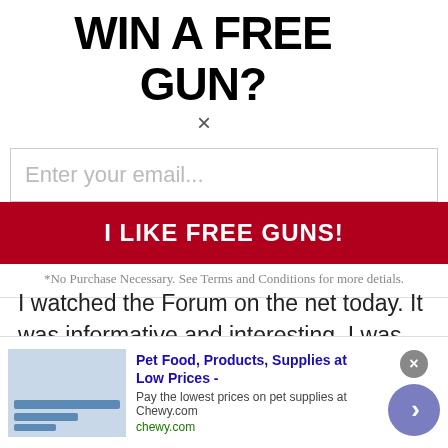WIN A FREE GUN?×
Enter your email...
I LIKE FREE GUNS!
*No Purchase Necessary. See Terms and Conditions for more detials.
I watched the Forum on the net today. It was informative and interesting. I was happy to hear that the NSCA supports the semiauto issue and the NICS exemption.
t11spanner
Dispatcher Extraordinaire
Sep 11, 2008
[Figure (screenshot): Chewy.com pet food advertisement banner at bottom of page]